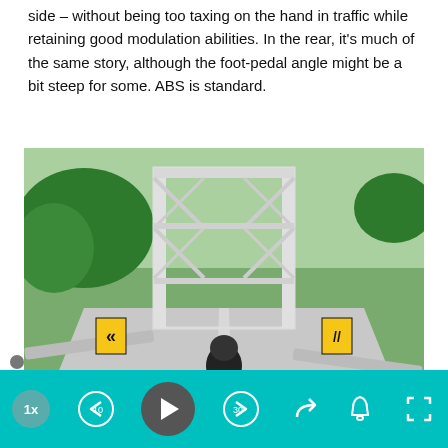side – without being too taxing on the hand in traffic while retaining good modulation abilities. In the rear, it's much of the same story, although the foot-pedal angle might be a bit steep for some. ABS is standard.
[Figure (photo): A motorcycle rider on a red touring motorcycle approaching a white steel truss bridge on a rural road. Yellow and black warning signs visible on both sides. Green trees in background.]